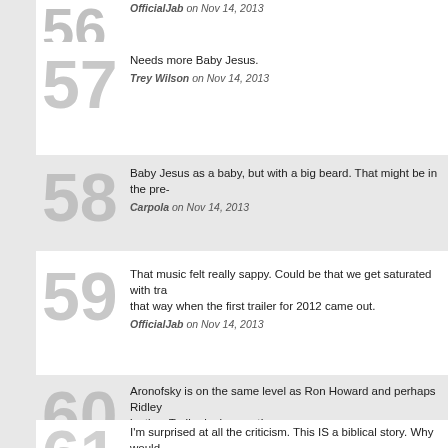56 — OfficialJab on Nov 14, 2013
57 — Needs more Baby Jesus.
Trey Wilson on Nov 14, 2013
58 — Baby Jesus as a baby, but with a big beard. That might be in the pre-
Carpola on Nov 14, 2013
59 — That music felt really sappy. Could be that we get saturated with tra... that way when the first trailer for 2012 came out.
OfficialJab on Nov 14, 2013
60 — Aronofsky is on the same level as Ron Howard and perhaps Ridley... justice. Trailer looks great!
Such heroic nonsense on Nov 14, 2013
61 — I'm surprised at all the criticism. This IS a biblical story. Why would... other point of view? Why not mention God? It's like saying you ca...